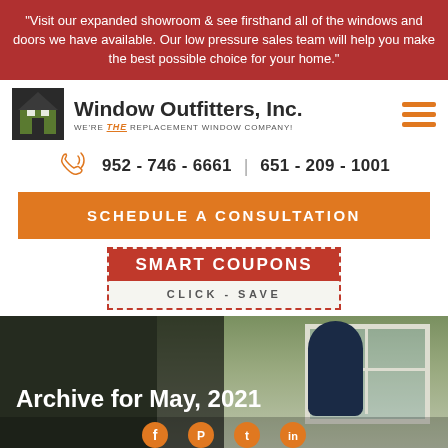"Visit our expanded showroom & see firsthand all of the windows and doors we have available. Our low pressure sales team will help you make the best possible choice for your home."
[Figure (logo): Window Outfitters Inc. logo with house icon. Tagline: WE'RE THE REPLACEMENT WINDOW COMPANY!]
952 - 746 - 6661 | 651 - 209 - 1001
SCHEDULE A CONSULTATION
SMART COUPONS
CLICK - SAVE
Archive for May, 2021